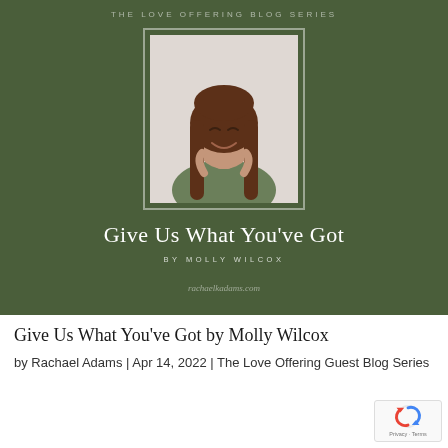THE LOVE OFFERING BLOG SERIES
[Figure (photo): Portrait photo of a young woman with long reddish-brown hair, smiling, wearing a green top, shown against a light background, inside a double-bordered frame on a dark olive/green background.]
Give Us What You've Got
BY MOLLY WILCOX
rachaelkadams.com
Give Us What You've Got by Molly Wilcox
by Rachael Adams | Apr 14, 2022 | The Love Offering Guest Blog Series